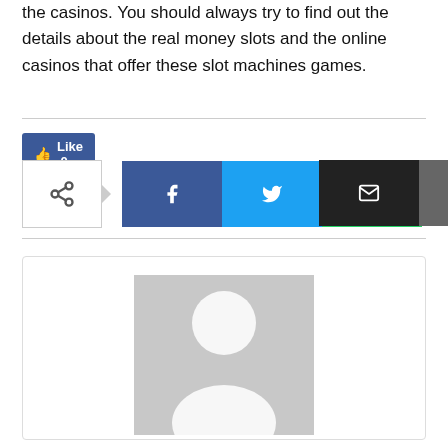the casinos. You should always try to find out the details about the real money slots and the online casinos that offer these slot machines games.
[Figure (other): Social share bar with Like button and share icons for Facebook, Twitter, WhatsApp, Email, and Print]
[Figure (other): Author profile card with grey avatar placeholder and name 'Lingua predefinita del sito']
Lingua predefinita del sito